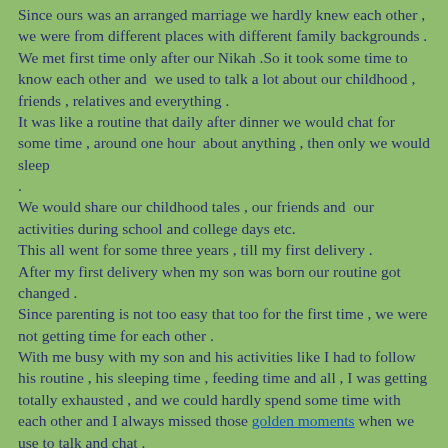Since ours was an arranged marriage we hardly knew each other , we were from different places with different family backgrounds . We met first time only after our Nikah .So it took some time to know each other and we used to talk a lot about our childhood , friends , relatives and everything . It was like a routine that daily after dinner we would chat for some time , around one hour about anything , then only we would sleep . We would share our childhood tales , our friends and our activities during school and college days etc. This all went for some three years , till my first delivery . After my first delivery when my son was born our routine got changed . Since parenting is not too easy that too for the first time , we were not getting time for each other . With me busy with my son and his activities like I had to follow his routine , his sleeping time , feeding time and all , I was getting totally exhausted , and we could hardly spend some time with each other and I always missed those golden moments when we use to talk and chat . When my son was around two years old , my husband said now he is grown up , we can relax and try to take out some time for